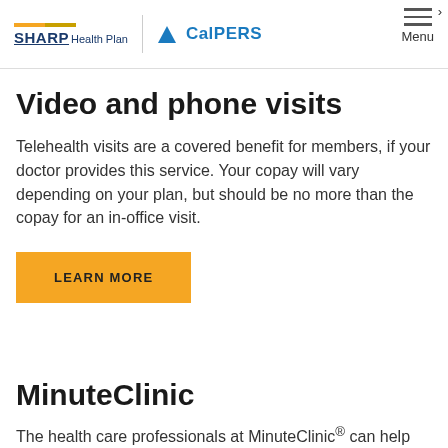SHARP Health Plan | CalPERS
Video and phone visits
Telehealth visits are a covered benefit for members, if your doctor provides this service. Your copay will vary depending on your plan, but should be no more than the copay for an in-office visit.
LEARN MORE
MinuteClinic
The health care professionals at MinuteClinic® can help evaluate symptoms and come up with a treatment plan